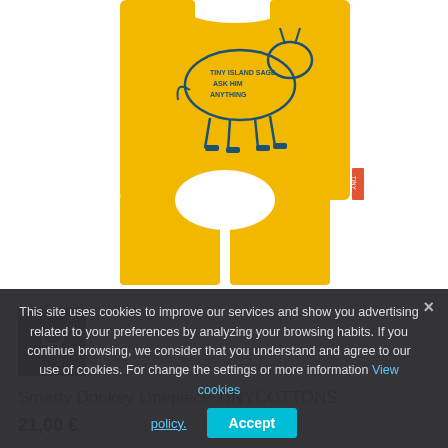[Figure (photo): Yellow children's romper/onepiece garment (Smarty Donkey Onepiece by TINYCOTTONS) with a donkey graphic print and text 'TINY ISLAND SAGE ASK HIM ANYTHING' on a white background. A small TINY brand label is visible on the right side seam.]
[Figure (screenshot): Dark gray square thumbnail with a shopping cart icon (white), representing a product image thumbnail navigation button.]
Smarty Donkey Onepiece TINYCOTTONS
21,00 € 42,00 € (-50%)
This site uses cookies to improve our services and show you advertising related to your preferences by analyzing your browsing habits. If you continue browsing, we consider that you understand and agree to our use of cookies. For change the settings or more information View cookies
policy.
Accept